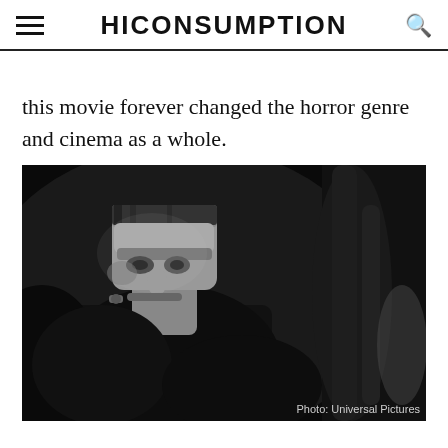HICONSUMPTION
this movie forever changed the horror genre and cinema as a whole.
[Figure (photo): Black and white still photo of Frankenstein's monster (Boris Karloff) in profile, wearing dark suit, with flat-top head and neck bolts, in a darkly lit scene. Photo credit: Universal Pictures.]
Photo: Universal Pictures